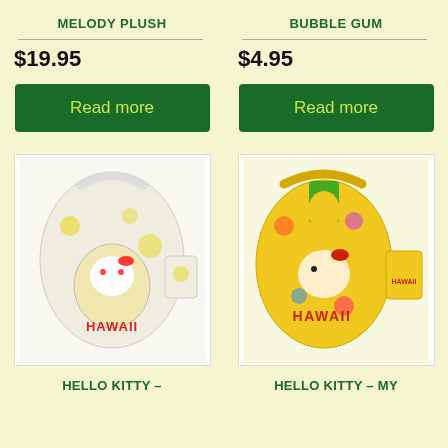MELODY PLUSH
BUBBLE GUM
$19.95
$4.95
Read more
Read more
[Figure (photo): Hello Kitty Hawaii pineapple-themed reusable shopping bag, white with pineapple pattern, shown open and folded small.]
[Figure (photo): Hello Kitty Hawaii colorful yellow reusable shopping bag with tropical design, shown open and folded small.]
HELLO KITTY –
HELLO KITTY – MY